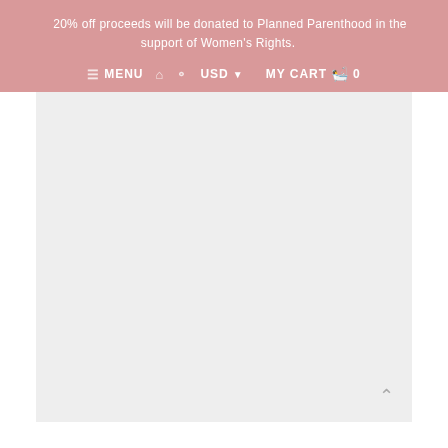20% off proceeds will be donated to Planned Parenthood in the support of Women's Rights.
≡ MENU  🏠  👤  USD ▾  MY CART 🛍 0
[Figure (screenshot): Light gray content area placeholder, representing a product image or page content below the navigation header. A small upward chevron scroll-to-top button appears at the bottom right corner.]